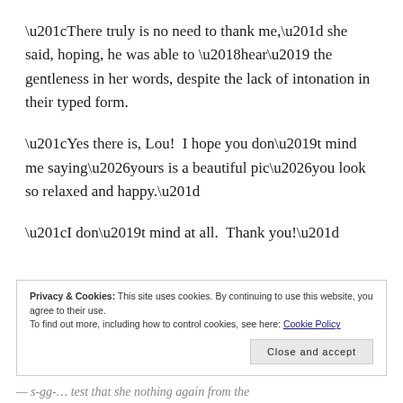“There truly is no need to thank me,” she said, hoping, he was able to ‘hear’ the gentleness in her words, despite the lack of intonation in their typed form.
“Yes there is, Lou!  I hope you don’t mind me saying…yours is a beautiful pic…you look so relaxed and happy.”
“I don’t mind at all.  Thank you!”
Privacy & Cookies: This site uses cookies. By continuing to use this website, you agree to their use.
To find out more, including how to control cookies, see here: Cookie Policy
Close and accept
The s-gg-... test that she nothing again from the